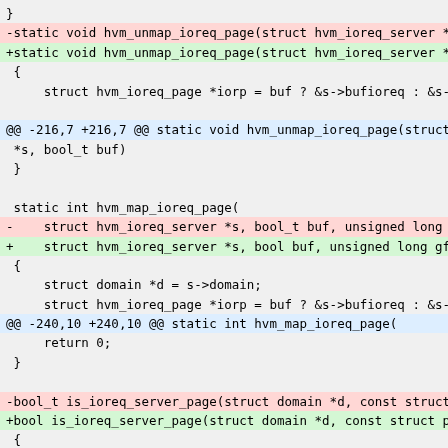Code diff showing hvm_unmap_ioreq_page and hvm_map_ioreq_page and is_ioreq_server_page function changes
}
-static void hvm_unmap_ioreq_page(struct hvm_ioreq_server *s,
+static void hvm_unmap_ioreq_page(struct hvm_ioreq_server *s,
 {
     struct hvm_ioreq_page *iorp = buf ? &s->bufioreq : &s->io

@@ -216,7 +216,7 @@ static void hvm_unmap_ioreq_page(struct hv
 *s, bool_t buf)
 }

 static int hvm_map_ioreq_page(
-    struct hvm_ioreq_server *s, bool_t buf, unsigned long gfn
+    struct hvm_ioreq_server *s, bool buf, unsigned long gfn)
 {
     struct domain *d = s->domain;
     struct hvm_ioreq_page *iorp = buf ? &s->bufioreq : &s->io
@@ -240,10 +240,10 @@ static int hvm_map_ioreq_page(
     return 0;
 }

-bool_t is_ioreq_server_page(struct domain *d, const struct pa
+bool is_ioreq_server_page(struct domain *d, const struct page
 {
     const struct hvm_ioreq_server *s;
     bool_t found = 0;